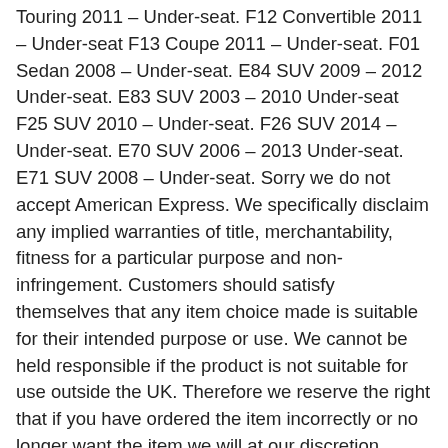Touring 2011 – Under-seat. F12 Convertible 2011 – Under-seat F13 Coupe 2011 – Under-seat. F01 Sedan 2008 – Under-seat. E84 SUV 2009 – 2012 Under-seat. E83 SUV 2003 – 2010 Under-seat F25 SUV 2010 – Under-seat. F26 SUV 2014 – Under-seat. E70 SUV 2006 – 2013 Under-seat. E71 SUV 2008 – Under-seat. Sorry we do not accept American Express. We specifically disclaim any implied warranties of title, merchantability, fitness for a particular purpose and non-infringement. Customers should satisfy themselves that any item choice made is suitable for their intended purpose or use. We cannot be held responsible if the product is not suitable for use outside the UK. Therefore we reserve the right that if you have ordered the item incorrectly or no longer want the item we will at our discretion minus the following amounts (based on normal mainland UK addresses, non mainland and non UK maybe more) : Items sent by Post – &#xC2;&#xA3;2.95 Items sent by Recorded Post – &#xC2;&#xA3;4.95 Items sent by